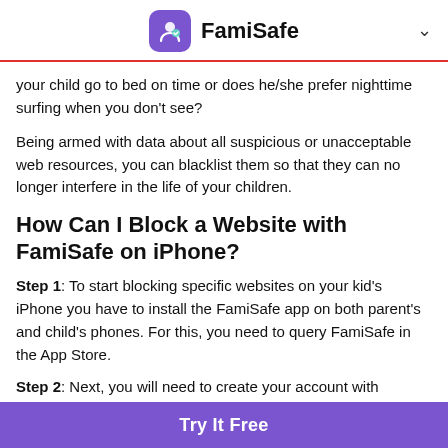FamiSafe
your child go to bed on time or does he/she prefer nighttime surfing when you don't see?
Being armed with data about all suspicious or unacceptable web resources, you can blacklist them so that they can no longer interfere in the life of your children.
How Can I Block a Website with FamiSafe on iPhone?
Step 1: To start blocking specific websites on your kid's iPhone you have to install the FamiSafe app on both parent's and child's phones. For this, you need to query FamiSafe in the App Store.
Step 2: Next, you will need to create your account with FamiSafe. Just
Try It Free